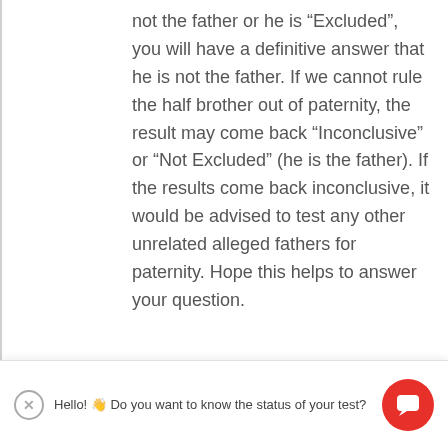not the father or he is “Excluded”, you will have a definitive answer that he is not the father. If we cannot rule the half brother out of paternity, the result may come back “Inconclusive” or “Not Excluded” (he is the father). If the results come back inconclusive, it would be advised to test any other unrelated alleged fathers for paternity. Hope this helps to answer your question.
Hello! 👋 Do you want to know the status of your test?